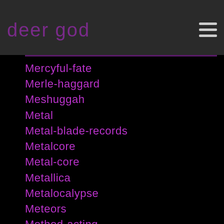deer god
Mercyful-fate
Merle-haggard
Meshuggah
Metal
Metal-blade-records
Metalcore
Metal-core
Metallica
Metalocalypse
Meteors
Method-acting
Method-man
Mf-doom
MGMT
M.I.A.
Michael Beinhorn
Michael Jackson